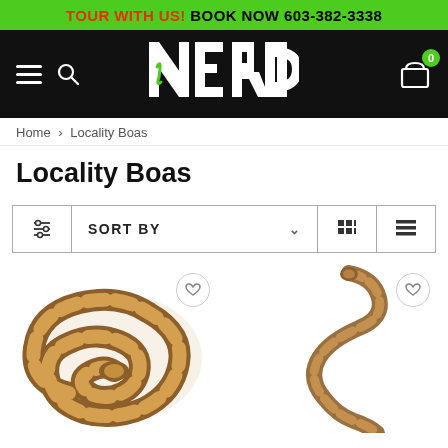TOUR WITH US! BOOK NOW 603-382-3338
[Figure (logo): NERD reptile store logo on black navigation bar with hamburger menu, search icon, and cart badge showing 0]
Home > Locality Boas
Locality Boas
SORT BY
[Figure (photo): Coiled brown patterned boa constrictor on white background with wishlist heart icon]
[Figure (photo): Slender brown boa constrictor in S-curve pose on white background with wishlist heart icon]